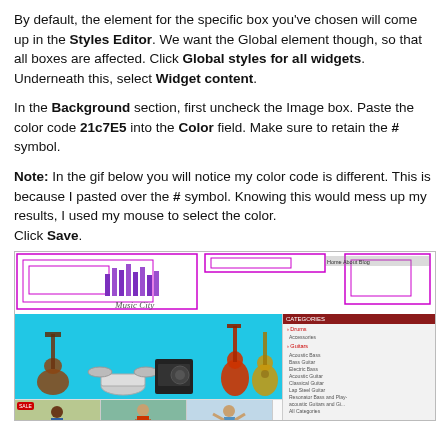By default, the element for the specific box you've chosen will come up in the Styles Editor. We want the Global element though, so that all boxes are affected. Click Global styles for all widgets. Underneath this, select Widget content.
In the Background section, first uncheck the Image box. Paste the color code 21c7E5 into the Color field. Make sure to retain the # symbol.
Note: In the gif below you will notice my color code is different. This is because I pasted over the # symbol. Knowing this would mess up my results, I used my mouse to select the color. Click Save.
[Figure (screenshot): Screenshot of a website called Music City with a teal/cyan background header area showing musical instruments (guitar, drums, etc.), purple decorative border lines in the top navigation, a dark red sidebar with category links, and product images below.]